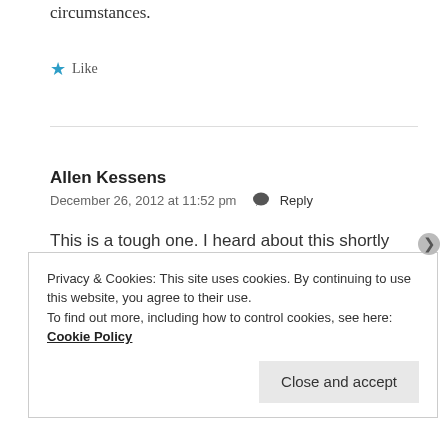circumstances.
★ Like
Allen Kessens
December 26, 2012 at 11:52 pm  Reply
This is a tough one. I heard about this shortly after it happened. I would agree with the warning only if it were early in the match from a captain. By this late in
Privacy & Cookies: This site uses cookies. By continuing to use this website, you agree to their use.
To find out more, including how to control cookies, see here: Cookie Policy
Close and accept